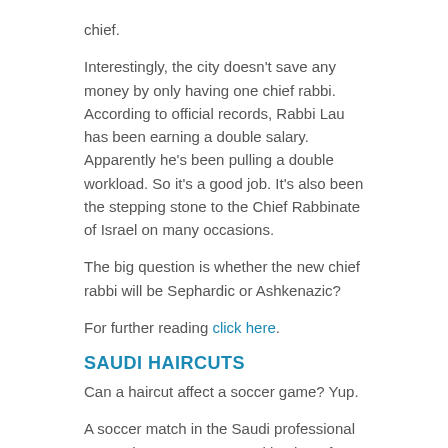chief.
Interestingly, the city doesn't save any money by only having one chief rabbi. According to official records, Rabbi Lau has been earning a double salary. Apparently he's been pulling a double workload. So it's a good job. It's also been the stepping stone to the Chief Rabbinate of Israel on many occasions.
The big question is whether the new chief rabbi will be Sephardic or Ashkenazic?
For further reading click here.
SAUDI HAIRCUTS
Can a haircut affect a soccer game? Yup.
A soccer match in the Saudi professional soccer league was stopped by the referee in order to fix the haircuts of three players whose hairdos were not in accordance with Sharia law.